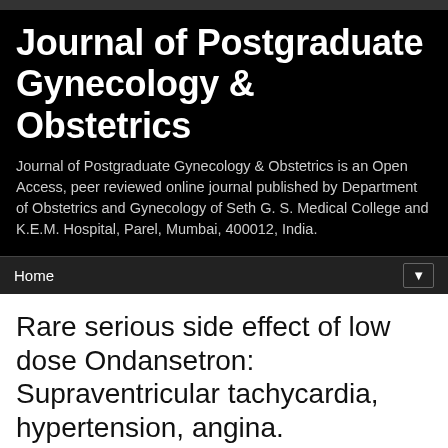Journal of Postgraduate Gynecology & Obstetrics
Journal of Postgraduate Gynecology & Obstetrics is an Open Access, peer reviewed online journal published by Department of Obstetrics and Gynecology of Seth G. S. Medical College and K.E.M. Hospital, Parel, Mumbai, 400012, India.
Home ▼
Rare serious side effect of low dose Ondansetron: Supraventricular tachycardia, hypertension, angina.
Author Information